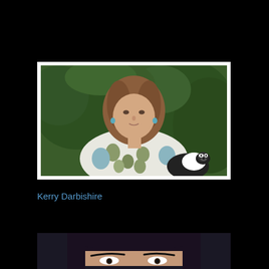[Figure (photo): A middle-aged woman with shoulder-length brown hair wearing a floral blouse (white with green and blue pattern), seated outdoors in front of green hedges, with a black and white dog visible at her side. White border frame around the photo.]
Kerry Darbishire
[Figure (photo): Partial view of a person with dark hair, only the top portion of the face visible, cropped at the bottom of the page.]